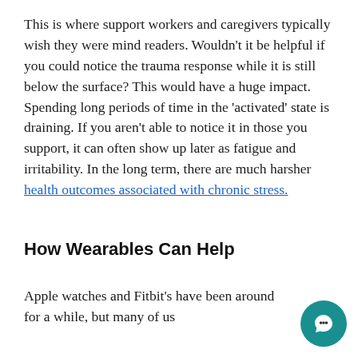This is where support workers and caregivers typically wish they were mind readers. Wouldn't it be helpful if you could notice the trauma response while it is still below the surface? This would have a huge impact. Spending long periods of time in the 'activated' state is draining. If you aren't able to notice it in those you support, it can often show up later as fatigue and irritability. In the long term, there are much harsher health outcomes associated with chronic stress.
How Wearables Can Help
Apple watches and Fitbit's have been around for a while, but many of us